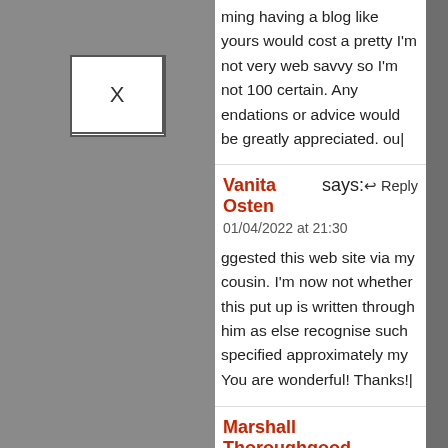ming having a blog like yours would cost a pretty I'm not very web savvy so I'm not 100 certain. Any endations or advice would be greatly appreciated. ou|
Vanita Osten says:
01/04/2022 at 21:30

ggested this web site via my cousin. I'm now not whether this put up is written through him as else recognise such specified approximately my You are wonderful! Thanks!|
Marshall Thoroughgood says:
22 at 0:07